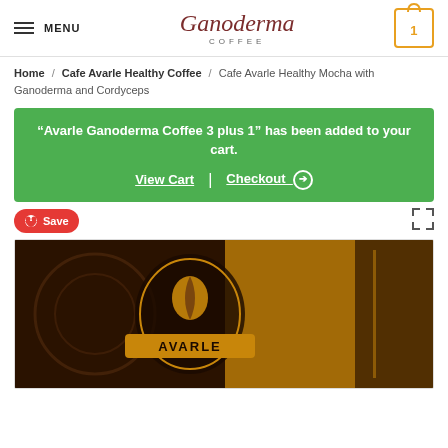MENU | Ganoderma COFFEE | 1
Home / Cafe Avarle Healthy Coffee / Cafe Avarle Healthy Mocha with Ganoderma and Cordyceps
“Avarle Ganoderma Coffee 3 plus 1” has been added to your cart.
View Cart | Checkout ⊙
[Figure (photo): Avarle Ganoderma Coffee product box with brown and gold design, showing the Avarle logo with coffee beans emblem]